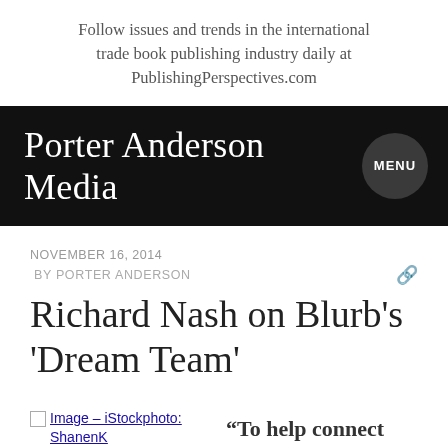Follow issues and trends in the international trade book publishing industry daily at PublishingPerspectives.com
Porter Anderson Media
NOVEMBER 16, 2014
BY PORTER ANDERSON
Richard Nash on Blurb's 'Dream Team'
[Figure (photo): Broken image placeholder linking to iStockphoto: ShanenK]
“To help connect